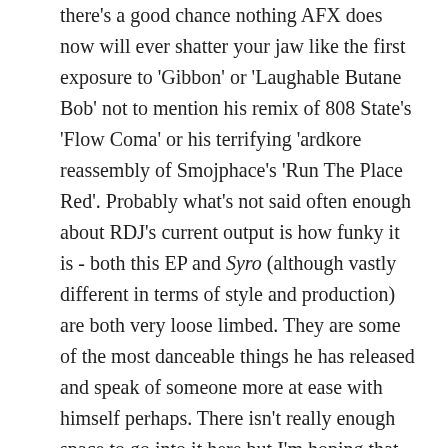there's a good chance nothing AFX does now will ever shatter your jaw like the first exposure to 'Gibbon' or 'Laughable Butane Bob' not to mention his remix of 808 State's 'Flow Coma' or his terrifying 'ardkore reassembly of Smojphace's 'Run The Place Red'. Probably what's not said often enough about RDJ's current output is how funky it is - both this EP and Syro (although vastly different in terms of style and production) are both very loose limbed. They are some of the most danceable things he has released and speak of someone more at ease with himself perhaps. There isn't really enough space to go into it here but I'm hoping that all of this purging that's been going on in the RDJ camp over the last year; all of this airing of archive material as albums, EPs and Soundcloud dumps, represents an act of blowing the chambers or clearing space for a new phase of creativity or even a brand new project perhaps.

But in the meantime I'm happy. I've been holding on for a horse. AFX partisans have been waiting on tenterhooks for a horse. WARP wanted AFX to deliver a horse. AFX has now completely